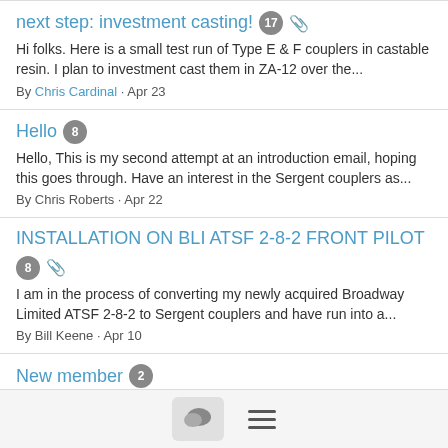next step: investment casting! [17] [clip]
Hi folks. Here is a small test run of Type E & F couplers in castable resin. I plan to investment cast them in ZA-12 over the...
By Chris Cardinal · Apr 23
Hello [8]
Hello, This is my second attempt at an introduction email, hoping this goes through. Have an interest in the Sergent couplers as...
By Chris Roberts · Apr 22
INSTALLATION ON BLI ATSF 2-8-2 FRONT PILOT [8] [clip]
I am in the process of converting my newly acquired Broadway Limited ATSF 2-8-2 to Sergent couplers and have run into a...
By Bill Keene · Apr 10
New member [2]
Hi, I'm Andrew and I've justt started to have investigate Sergent